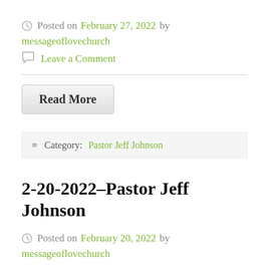Posted on February 27, 2022 by messageoflovechurch
Leave a Comment
Read More
Category: Pastor Jeff Johnson
2-20-2022–Pastor Jeff Johnson
Posted on February 20, 2022 by messageoflovechurch